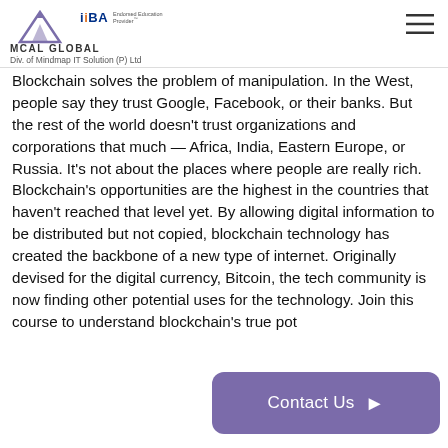MCAL GLOBAL | IIBA Endorsed Education Provider | Div. of Mindmap IT Solution (P) Ltd
Blockchain solves the problem of manipulation. In the West, people say they trust Google, Facebook, or their banks. But the rest of the world doesn't trust organizations and corporations that much — Africa, India, Eastern Europe, or Russia. It's not about the places where people are really rich. Blockchain's opportunities are the highest in the countries that haven't reached that level yet. By allowing digital information to be distributed but not copied, blockchain technology has created the backbone of a new type of internet. Originally devised for the digital currency, Bitcoin, the tech community is now finding other potential uses for the technology. Join this course to understand blockchain's true pot
[Figure (other): Contact Us button with purple/violet background and arrow]